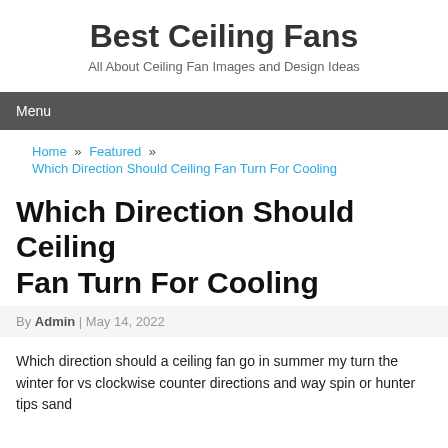Best Ceiling Fans
All About Ceiling Fan Images and Design Ideas
Menu
Home » Featured » Which Direction Should Ceiling Fan Turn For Cooling
Which Direction Should Ceiling Fan Turn For Cooling
By Admin | May 14, 2022
Which direction should a ceiling fan go in summer my turn the winter for vs clockwise counter directions and way spin or hunter tips sand...